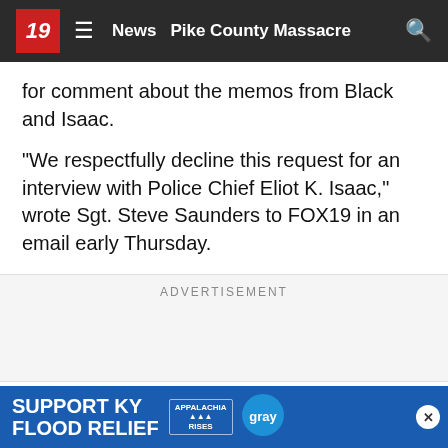19 ≡ News  Pike County Massacre  🔍
for comment about the memos from Black and Isaac.
"We respectfully decline this request for an interview with Police Chief Eliot K. Isaac," wrote Sgt. Steve Saunders to FOX19 in an email early Thursday.
ADVERTISEMENT
FOX19 NOW will update this story when we hear back from the city.
The memos show Isaac brought issues with Bailey to the attention of District 5 comma...
[Figure (other): Support KY Flood Relief banner with Appalachia Rises and Gray logos]